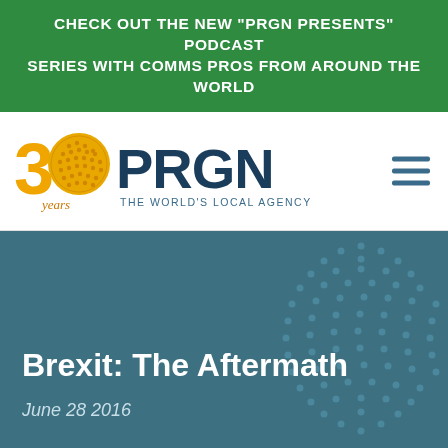CHECK OUT THE NEW "PRGN PRESENTS" PODCAST SERIES WITH COMMS PROS FROM AROUND THE WORLD
[Figure (logo): PRGN 30 years logo — The World's Local Agency]
Brexit: The Aftermath
June 28 2016